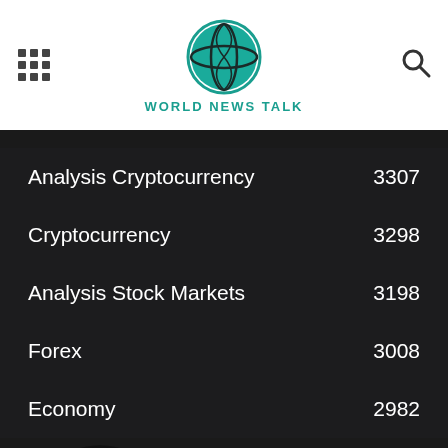World News Talk
Analysis Cryptocurrency 3307
Cryptocurrency 3298
Analysis Stock Markets 3198
Forex 3008
Economy 2982
[Figure (logo): World News Talk globe logo — teal globe with grid lines on dark background, large version]